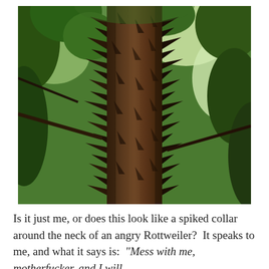[Figure (photo): Photograph of a tall tree trunk covered in large, sharp conical spikes/thorns, photographed from below looking up through the forest canopy with green foliage visible in the background.]
Is it just me, or does this look like a spiked collar around the neck of an angry Rottweiler?  It speaks to me, and what it says is:  “Mess with me, motherfucker, and I will kill you.”